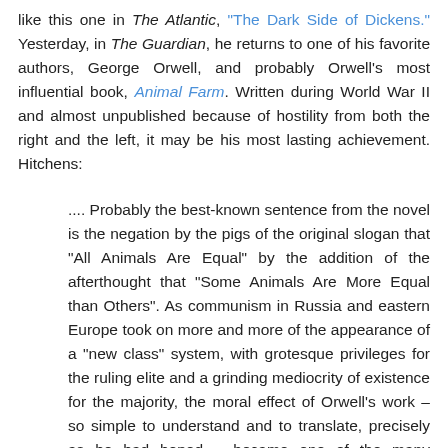like this one in The Atlantic, "The Dark Side of Dickens." Yesterday, in The Guardian, he returns to one of his favorite authors, George Orwell, and probably Orwell's most influential book, Animal Farm. Written during World War II and almost unpublished because of hostility from both the right and the left, it may be his most lasting achievement. Hitchens:
.... Probably the best-known sentence from the novel is the negation by the pigs of the original slogan that "All Animals Are Equal" by the addition of the afterthought that "Some Animals Are More Equal than Others". As communism in Russia and eastern Europe took on more and more of the appearance of a "new class" system, with grotesque privileges for the ruling elite and a grinding mediocrity of existence for the majority, the moral effect of Orwell's work – so simple to understand and to translate, precisely as he had hoped – became one of the many unquantifiable forces that eroded communism both as a system and as an ideology. Gradually, the same effect